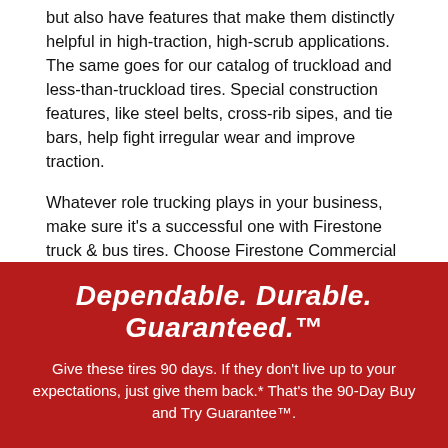but also have features that make them distinctly helpful in high-traction, high-scrub applications. The same goes for our catalog of truckload and less-than-truckload tires. Special construction features, like steel belts, cross-rib sipes, and tie bars, help fight irregular wear and improve traction.
Whatever role trucking plays in your business, make sure it's a successful one with Firestone truck & bus tires. Choose Firestone Commercial for truck and bus tires near Hatfield and you get more than trustworthy you get tire solutions that solve your fleet's biggest problems. Shop truck & bus tires online. Search by application, size, position, or technology, like SmartWay-verified or CARB Compliant. *Conditions apply. See warranty information for details.
Dependable. Durable. Guaranteed.™
Give these tires 90 days. If they don't live up to your expectations, just give them back.* That's the 90-Day Buy and Try Guarantee™.